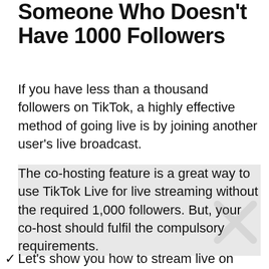Someone Who Doesn't Have 1000 Followers
If you have less than a thousand followers on TikTok, a highly effective method of going live is by joining another user's live broadcast.
The co-hosting feature is a great way to use TikTok Live for live streaming without the required 1,000 followers. But, your co-host should fulfil the compulsory requirements.
Let's show you how to stream live on